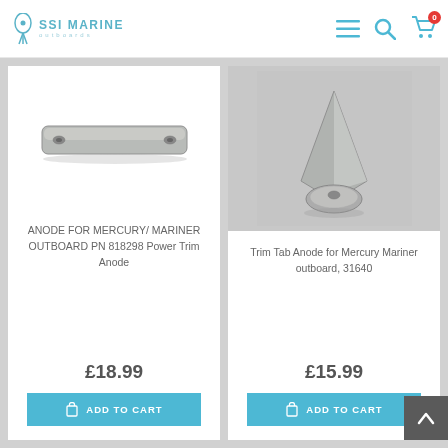SSI MARINE outboards
[Figure (photo): Flat rectangular metal anode plate with mounting holes at each end for Mercury/Mariner outboard]
ANODE FOR MERCURY/ MARINER OUTBOARD PN 818298 Power Trim Anode
£18.99
ADD TO CART
[Figure (photo): Trim tab anode for Mercury Mariner outboard, part 31640, shown as a triangular fin-shaped zinc anode with disc base]
Trim Tab Anode for Mercury Mariner outboard, 31640
£15.99
ADD TO CART